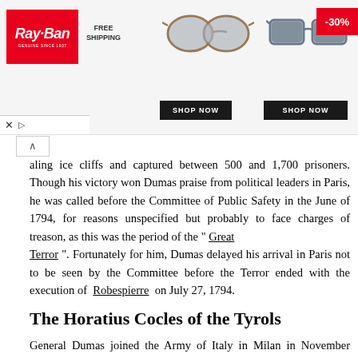[Figure (other): Ray-Ban advertisement banner with sunglasses images, FREE SHIPPING text, SHOP NOW buttons, and -30% discount badge]
aling ice cliffs and captured between 500 and 1,700 prisoners. Though his victory won Dumas praise from political leaders in Paris, he was called before the Committee of Public Safety in the June of 1794, for reasons unspecified but probably to face charges of treason, as this was the period of the “ Great Terror ”. Fortunately for him, Dumas delayed his arrival in Paris not to be seen by the Committee before the Terror ended with the execution of Robespierre on July 27, 1794.
The Horatius Cocles of the Tyrols
General Dumas joined the Army of Italy in Milan in November 1796, serving under the orders of its commander-in-chief, Napoleon Bonaparte . Tension between the two generals began in this period, as Dumas resisted Napoleon’s policy of allowing French troops indiscriminately to expropriate local